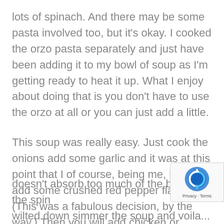lots of spinach. And there may be some pasta involved too, but it's okay. I cooked the orzo pasta separately and just have been adding it to my bowl of soup as I'm getting ready to heat it up. What I enjoy about doing that is you don't have to use the orzo at all or you can just add a little.
This soup was really easy. Just cook the onions add some garlic and it was at this point that I of course, being me, had to add some crushed red pepper flakes. (This was a fabulous decision, by the way.) Then you will add chicken or vegetable stock along with water and then add a lot of spinach and a can of tomatoes with Italian seasoning. You'll also cook your orzo at this point too. You can cook it in the soup but I like doing it separately and that way the p... doesn't absorb too much of the broth. Once the spin... wilted down simmer the soup and voila...